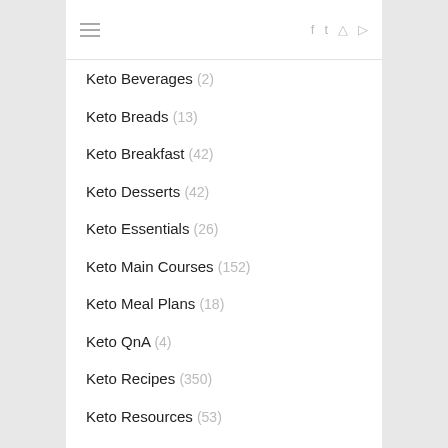Navigation header with hamburger menu and social icons (f, t, instagram, youtube)
Keto Beverages (2)
Keto Breads (13)
Keto Breakfast (42)
Keto Desserts (42)
Keto Essentials (26)
Keto Main Courses (152)
Keto Meal Plans (18)
Keto QnA (4)
Keto Recipes (350)
Keto Resources (53)
Keto Salads (16)
Keto Shopping Lists (2)
Keto Snacks (40)
Keto Soups (15)